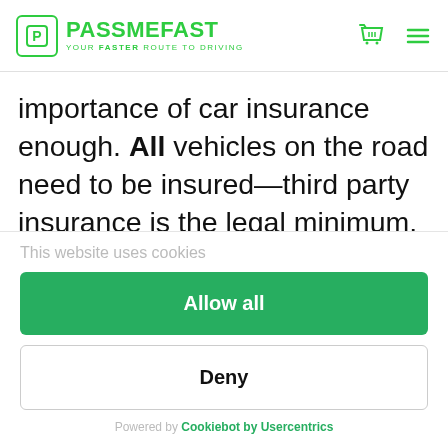PASS ME FAST — YOUR FASTER ROUTE TO DRIVING
importance of car insurance enough. All vehicles on the road need to be insured—third party insurance is the legal minimum. With it, you're covered if you end up in an accident that causes injury to a third party and their vehicle, animals or property.
This website uses cookies
Allow all
Deny
Powered by Cookiebot by Usercentrics